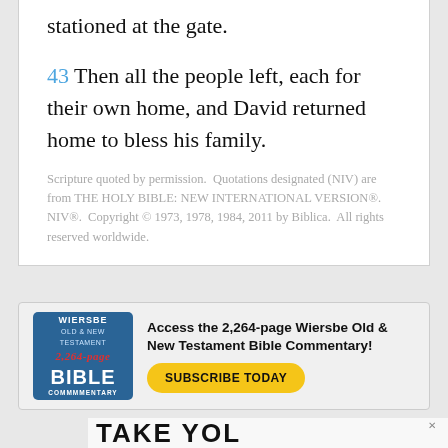stationed at the gate.
43 Then all the people left, each for their own home, and David returned home to bless his family.
Scripture quoted by permission. Quotations designated (NIV) are from THE HOLY BIBLE: NEW INTERNATIONAL VERSION®. NIV®. Copyright © 1973, 1978, 1984, 2011 by Biblica. All rights reserved worldwide.
[Figure (infographic): Wiersbe Old & New Testament 2,264-page Bible Commentary advertisement with blue book cover image and yellow Subscribe Today button]
[Figure (other): Bottom advertisement banner showing partial text TAKE YOUR with an X close button]